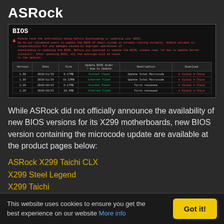ASRock
[Figure (screenshot): Screenshot of ASRock BIOS download page showing a table with BIOS versions, dates, sizes, update methods, descriptions, and download links for Global and China regions. Warning text in red at the top.]
While ASRock did not officially announce the availability of new BIOS versions for its X299 motherboards, new BIOS version containing the microcode update are available at the product pages below:
ASRock X299 Taichi CLX
X299 Steel Legend
X299 Taichi
X299 Taichi XE
Fatal1ty X299 Gaming K6
Fatal1ty X299 Professional Gaming i9
X299E-ITX/ac
This website uses cookies to ensure you get the best experience on our website More info